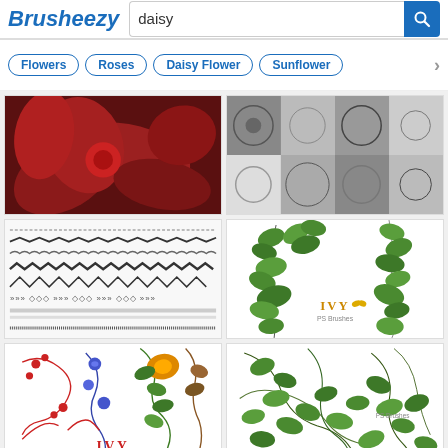Brusheezy
daisy
Flowers
Roses
Daisy Flower
Sunflower
[Figure (photo): Dark red floral brush preview with red flowers on dark background]
[Figure (photo): Black and white floral pattern brush previews]
[Figure (photo): Brush stroke pattern samples showing various decorative borders and lines]
[Figure (illustration): Green ivy leaves PS Brushes illustration on white background]
[Figure (illustration): Colorful floral IVY PS Brushes with red, blue, green, and orange flowers]
[Figure (illustration): Green ivy vine swirls PS Brushes illustration on white background]